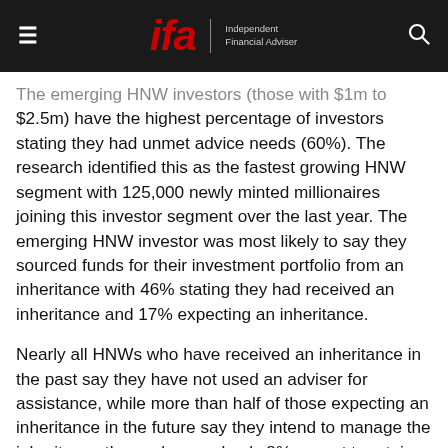ifa | Independent Financial Adviser
The emerging HNW investors (those with $1m to $2.5m) have the highest percentage of investors stating they had unmet advice needs (60%). The research identified this as the fastest growing HNW segment with 125,000 newly minted millionaires joining this investor segment over the last year. The emerging HNW investor was most likely to say they sourced funds for their investment portfolio from an inheritance with 46% stating they had received an inheritance and 17% expecting an inheritance.
Nearly all HNWs who have received an inheritance in the past say they have not used an adviser for assistance, while more than half of those expecting an inheritance in the future say they intend to manage the inheritance themselves and only 8% expect to retain their benefactor's adviser. The emerging HNW investor was least likely to retain the adviser of any HNW